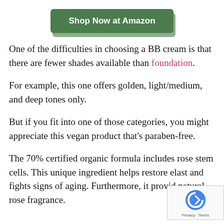[Figure (other): Green 'Shop Now at Amazon' button with shadow]
One of the difficulties in choosing a BB cream is that there are fewer shades available than foundation.
For example, this one offers golden, light/medium, and deep tones only.
But if you fit into one of those categories, you might appreciate this vegan product that's paraben-free.
The 70% certified organic formula includes rose stem cells. This unique ingredient helps restore elast and fights signs of aging. Furthermore, it provid natural rose fragrance.